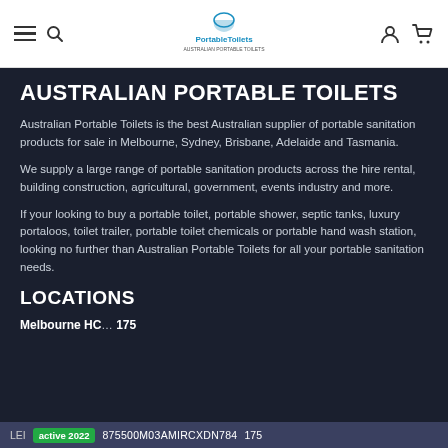Australian Portable Toilets - navigation bar with hamburger menu, search icon, logo, user icon, cart icon
AUSTRALIAN PORTABLE TOILETS
Australian Portable Toilets is the best Australian supplier of portable sanitation products for sale in Melbourne, Sydney, Brisbane, Adelaide and Tasmania.
We supply a large range of portable sanitation products across the hire rental, building construction, agricultural, government, events industry and more.
If your looking to buy a portable toilet, portable shower, septic tanks, luxury portaloos, toilet trailer, portable toilet chemicals or portable hand wash station, looking no further than Australian Portable Toilets for all your portable sanitation needs.
LOCATIONS
Melbourne HC … 175
LEI active 2022 875500M03AMIRCXDN784 175